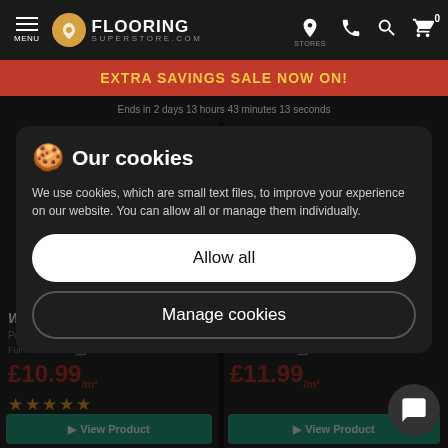MENU | FLOORING SUPERSTORE.COM | STORES
EXTRA SAVINGS SALE NOW ON!
Ends in 2 days 13 hours 43 minutes 13 seconds
🍪 Our cookies
We use cookies, which are small text files, to improve your experience on our website. You can allow all or manage them individually.
Allow all
Manage cookies
Wiltshire
Post Oak
Full Price
£10.99/m²
80 Reviews
Patterned Tiles
Mosaic
Full Price
£11.99/m²
View Product
View Product